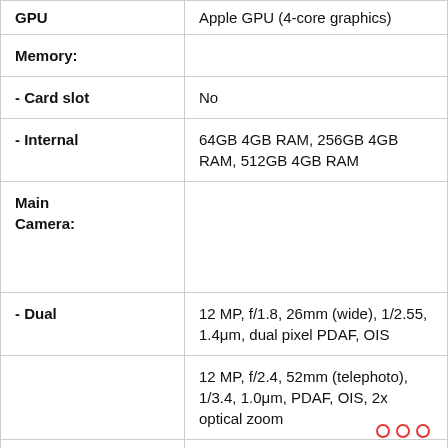| Specification | Details |
| --- | --- |
| GPU | Apple GPU (4-core graphics) |
| Memory: |  |
| - Card slot | No |
| - Internal | 64GB 4GB RAM, 256GB 4GB RAM, 512GB 4GB RAM |
| Main Camera: |  |
| - Dual | 12 MP, f/1.8, 26mm (wide), 1/2.55, 1.4μm, dual pixel PDAF, OIS |
|  | 12 MP, f/2.4, 52mm (telephoto), 1/3.4, 1.0μm, PDAF, OIS, 2x optical zoom |
| - Features | Quad-LED dual-tone flash, |